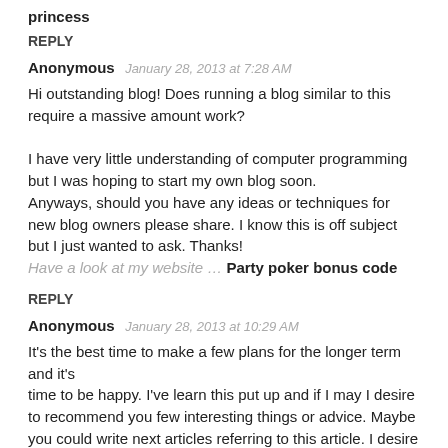princess
REPLY
Anonymous   January 28, 2013 at 7:28 AM
Hi outstanding blog! Does running a blog similar to this require a massive amount work?

I have very little understanding of computer programming but I was hoping to start my own blog soon.
Anyways, should you have any ideas or techniques for new blog owners please share. I know this is off subject but I just wanted to ask. Thanks!
Have a look at my website … Party poker bonus code
REPLY
Anonymous   January 28, 2013 at 10:29 AM
It's the best time to make a few plans for the longer term and it's time to be happy. I've learn this put up and if I may I desire to recommend you few interesting things or advice. Maybe you could write next articles referring to this article. I desire to read